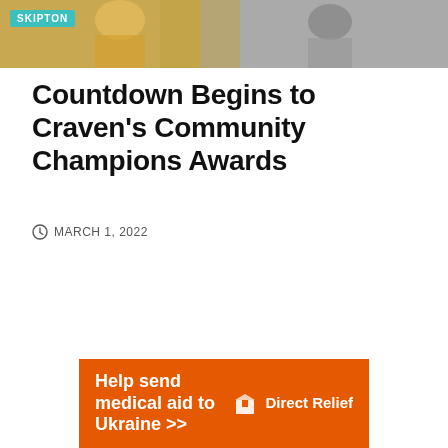[Figure (photo): Photo banner showing people at an event, with a teal SKIPTON tag overlay in the top-left corner]
Countdown Begins to Craven's Community Champions Awards
MARCH 1, 2022
[Figure (infographic): Orange advertisement banner reading 'Help send medical aid to Ukraine >>' with Direct Relief logo on the right]